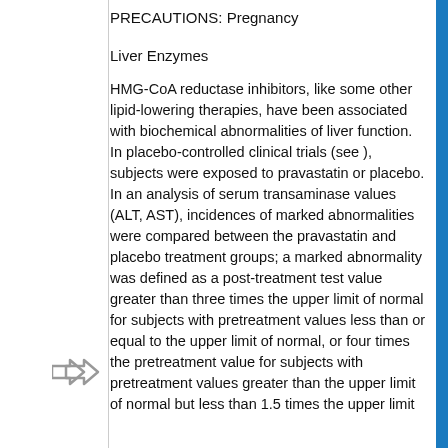PRECAUTIONS: Pregnancy
Liver Enzymes
HMG-CoA reductase inhibitors, like some other lipid-lowering therapies, have been associated with biochemical abnormalities of liver function. In placebo-controlled clinical trials (see ), subjects were exposed to pravastatin or placebo. In an analysis of serum transaminase values (ALT, AST), incidences of marked abnormalities were compared between the pravastatin and placebo treatment groups; a marked abnormality was defined as a post-treatment test value greater than three times the upper limit of normal for subjects with pretreatment values less than or equal to the upper limit of normal, or four times the pretreatment value for subjects with pretreatment values greater than the upper limit of normal but less than 1.5 times the upper limit